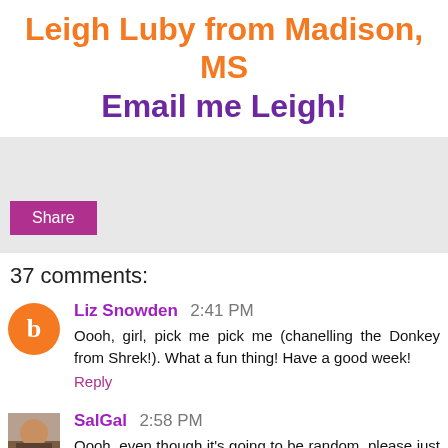Leigh Luby from Madison, MS
Email me Leigh!
[Figure (other): Share button area with light gray background and a purple Share button]
37 comments:
Liz Snowden 2:41 PM
Oooh, girl, pick me pick me (chanelling the Donkey from Shrek!). What a fun thing! Have a good week!
Reply
SalGal 2:58 PM
Oooh, even though it's going to be random, please just call my name when you pick the winner! I could use some good